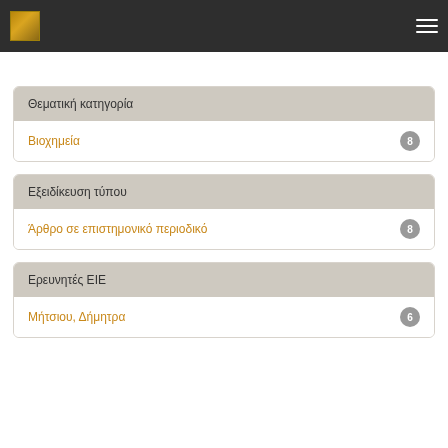Navigation header with logo and hamburger menu
Θεματική κατηγορία
Βιοχημεία 8
Εξειδίκευση τύπου
Άρθρο σε επιστημονικό περιοδικό 8
Ερευνητές ΕΙΕ
Μήτσιου, Δήμητρα 6